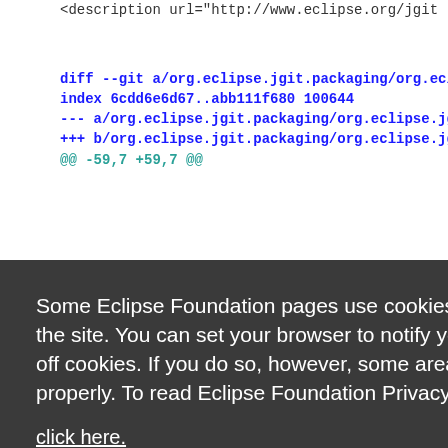<description url="http://www.eclipse.org/jgit
diff --git a/org.eclipse.jgit.packaging/org.eclip
index 6cdd6e6d67..abb111f680 100644
--- a/org.eclipse.jgit.packaging/org.eclipse.jgit
+++ b/org.eclipse.jgit.packaging/org.eclipse.jgit
@@ -59,7 +59,7 @@
factId>
ion>
oupId>
org.eclip
ipse.jgit
ipse.jgit
Some Eclipse Foundation pages use cookies to better serve you when you return to the site. You can set your browser to notify you before you receive a cookie or turn off cookies. If you do so, however, some areas of some sites may not function properly. To read Eclipse Foundation Privacy Policy click here.
Decline
Allow cookies
label="%featureName"